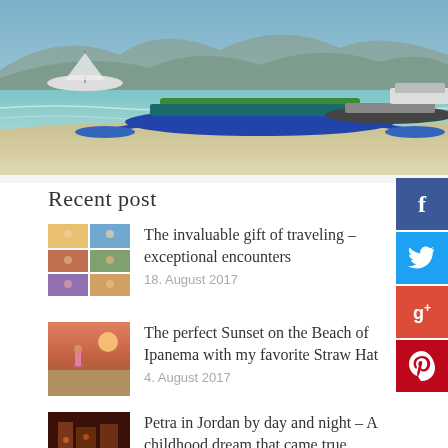[Figure (photo): Scenic beach photo with traditional Indonesian outrigger boats (jukung) moored on a sandy shore with calm turquoise water and mountains in the background under a blue sky.]
Recent post
[Figure (photo): Collage thumbnail of travel photos with people]
The invaluable gift of traveling – exceptional encounters
18. August 2017
[Figure (photo): Beach sunset photo with a person standing on the shore wearing a pink outfit]
The perfect Sunset on the Beach of Ipanema with my favorite Straw Hat
4. August 2017
[Figure (photo): Dark reddish photo of ancient rock structures at Petra, Jordan at night]
Petra in Jordan by day and night – A childhood dream that came true